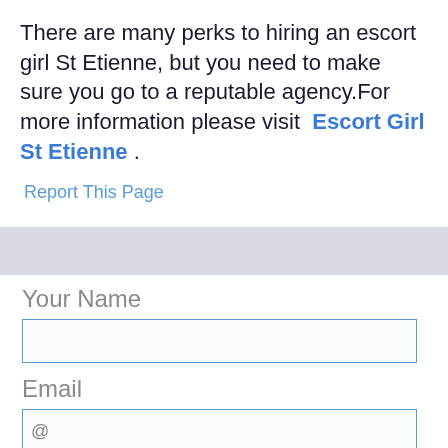There are many perks to hiring an escort girl St Etienne, but you need to make sure you go to a reputable agency.For more information please visit  Escort Girl St Etienne .
Report This Page
Your Name
Email